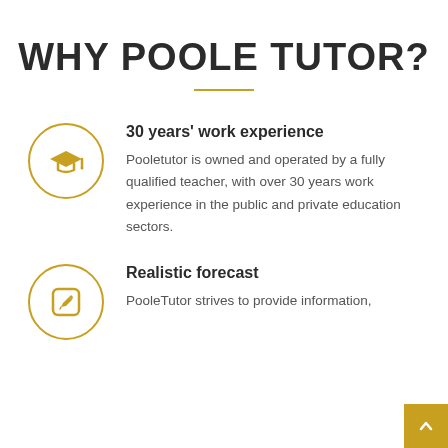WHY POOLE TUTOR?
30 years' work experience
Pooletutor is owned and operated by a fully qualified teacher, with over 30 years work experience in the public and private education sectors.
Realistic forecast
PooleTutor strives to provide information,